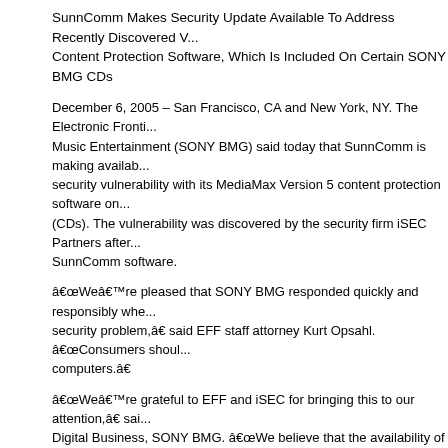SunnComm Makes Security Update Available To Address Recently Discovered V... Content Protection Software, Which Is Included On Certain SONY BMG CDs
December 6, 2005 – San Francisco, CA and New York, NY. The Electronic Fronti... Music Entertainment (SONY BMG) said today that SunnComm is making availab... security vulnerability with its MediaMax Version 5 content protection software on... (CDs). The vulnerability was discovered by the security firm iSEC Partners after... SunnComm software.
â€œWeâ€™re pleased that SONY BMG responded quickly and responsibly whe... security problem,â€ said EFF staff attorney Kurt Opsahl. â€œConsumers shoul... computers.â€
â€œWeâ€™re grateful to EFF and iSEC for bringing this to our attention,â€ sai... Digital Business, SONY BMG. â€œWe believe that the availability of the update... customers will appropriately address the CDs with MediaMax Version 5 in the ma...
SunnComm as well as independent software security firm NGS Software have de... is fully addressed by the update. NGS Director Robert Horton said, â€œAfter car... vulnerability presented to us by SONY BMG, we have determined that it is not un... fixed by applying a software update.â€
The security vulnerability on SunnComm MediaMax Version 5 software differs fro... First4Internet XCP software contained on certain SONY BMG CDs. A full list of th... Version 5 titles is included in the link below. Consumers can download the softwa...